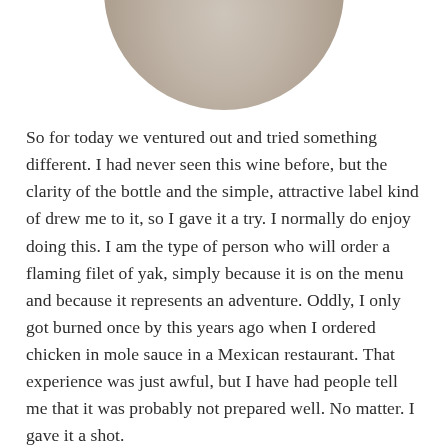[Figure (photo): Circular cropped photo showing top portion of a wine bottle on a textured beige/gray fabric background, partially cut off at top of page]
So for today we ventured out and tried something different. I had never seen this wine before, but the clarity of the bottle and the simple, attractive label kind of drew me to it, so I gave it a try. I normally do enjoy doing this. I am the type of person who will order a flaming filet of yak, simply because it is on the menu and because it represents an adventure. Oddly, I only got burned once by this years ago when I ordered chicken in mole sauce in a Mexican restaurant. That experience was just awful, but I have had people tell me that it was probably not prepared well. No matter. I gave it a shot.
[Figure (photo): Circular cropped photo showing a blue sky with white clouds, partially visible at the bottom of the page]